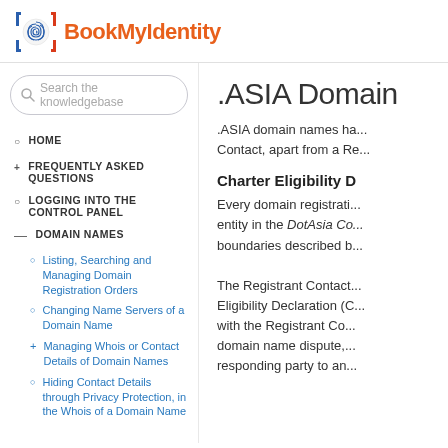[Figure (logo): BookMyIdentity logo with fingerprint icon in blue/red and orange brand name text]
Search the knowledgebase
HOME
FREQUENTLY ASKED QUESTIONS
LOGGING INTO THE CONTROL PANEL
DOMAIN NAMES
Listing, Searching and Managing Domain Registration Orders
Changing Name Servers of a Domain Name
Managing Whois or Contact Details of Domain Names
Hiding Contact Details through Privacy Protection, in the Whois of a Domain Name
.ASIA Domain
.ASIA domain names ha... Contact, apart from a Re...
Charter Eligibility D
Every domain registrati... entity in the DotAsia Co... boundaries described b... The Registrant Contact... Eligibility Declaration (C... with the Registrant Co... domain name dispute,... responding party to an...